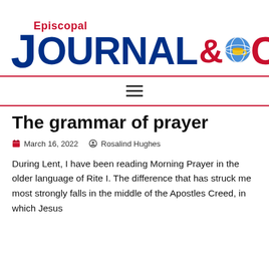[Figure (logo): Episcopal Journal & Cafe logo with blue 'JOURNAL' text, red 'Episcopal' wordmark above, red '&Cafe' text, and a globe/teacup icon between JOURNAL and Cafe]
The grammar of prayer
March 16, 2022   Rosalind Hughes
During Lent, I have been reading Morning Prayer in the older language of Rite I. The difference that has struck me most strongly falls in the middle of the Apostles Creed, in which Jesus